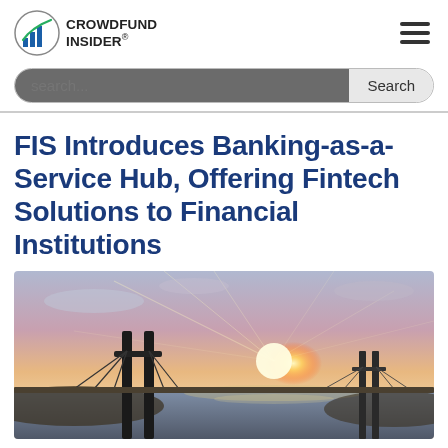CROWDFUND INSIDER
FIS Introduces Banking-as-a-Service Hub, Offering Fintech Solutions to Financial Institutions
[Figure (photo): Aerial or ground-level view of a suspension bridge over water at sunset/sunrise, with dramatic sky and sun rays in the background.]